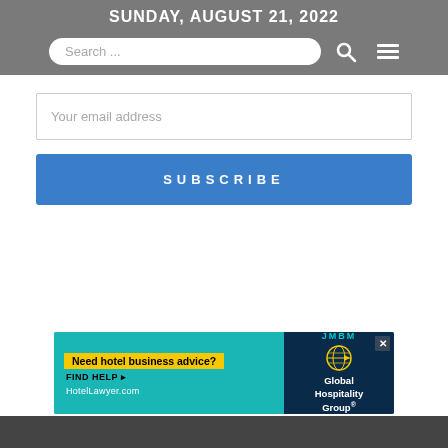SUNDAY, AUGUST 21, 2022
Search ...
Your email address
SUBSCRIBE
[Figure (other): Advertisement banner for HotelLawyer.com featuring JMBM Global Hospitality Group. Text reads: Need hotel business advice? FIND HELP. HotelLawyer.com]